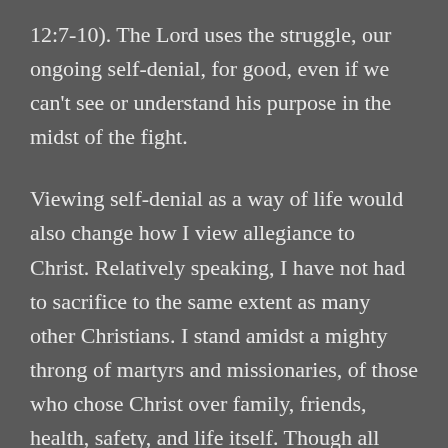12:7-10). The Lord uses the struggle, our ongoing self-denial, for good, even if we can't see or understand his purpose in the midst of the fight.
Viewing self-denial as a way of life would also change how I view allegiance to Christ. Relatively speaking, I have not had to sacrifice to the same extent as many other Christians. I stand amidst a mighty throng of martyrs and missionaries, of those who chose Christ over family, friends, health, safety, and life itself. Though all Christians bear crosses, some do seem to have a heavier weight, a fiercer struggle. And when the call of Christ requires your all, when devotion to the Lord means a greater denial than you ever realized you could make, you wonder if Christ is worth it. Ultimately, that's the question we must answer: is Christ worthy of the greatest extent of self-denial? If pressed, will I or we do...